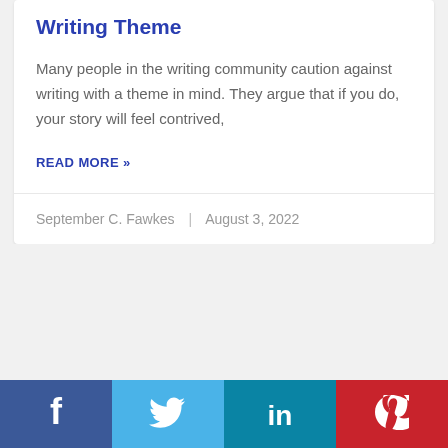Writing Theme
Many people in the writing community caution against writing with a theme in mind. They argue that if you do, your story will feel contrived,
READ MORE »
September C. Fawkes  |  August 3, 2022
[Figure (infographic): Social sharing bar with Facebook (blue), Twitter (light blue), LinkedIn (teal), and Pinterest (red) icons]